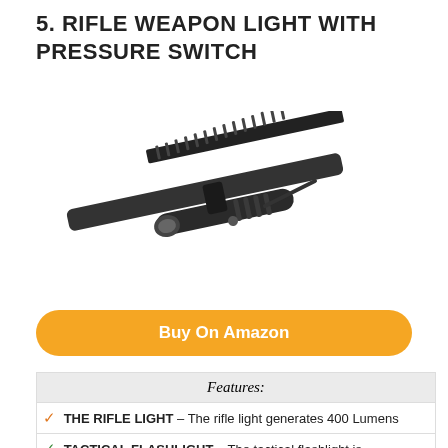5. RIFLE WEAPON LIGHT WITH PRESSURE SWITCH
[Figure (photo): Photo of a black tactical rifle weapon light/flashlight mounted on a rifle rail, shown at an angle against a white background.]
Buy On Amazon
| Features: |
| --- |
| ✓ THE RIFLE LIGHT – The rifle light generates 400 Lumens |
| ✓ TACTICAL FLASHLIGHT – The tactical flashlight is |
| ✓ THE PICATINNY FLASHLIGHT – The picatinny flashlight |
| ✓ THE WEAPON LIGHT – Click its quiet pressure switch, the |